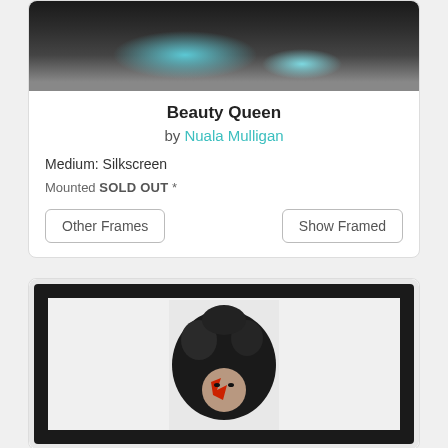[Figure (photo): Top cropped portion of artwork showing teal and dark textured silkscreen image]
Beauty Queen
by Nuala Mulligan
Medium: Silkscreen
Mounted SOLD OUT *
Other Frames
Show Framed
[Figure (photo): Framed artwork in black frame showing portrait with large dark afro hair and red stripe face paint, reminiscent of David Bowie]